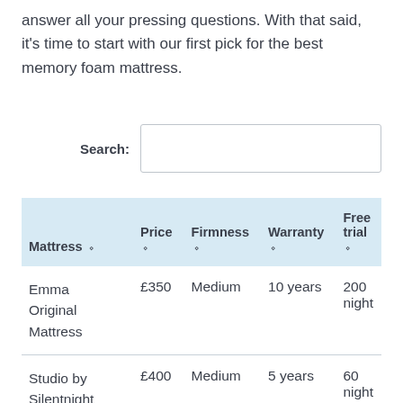answer all your pressing questions. With that said, it's time to start with our first pick for the best memory foam mattress.
| Mattress | Price | Firmness | Warranty | Free trial |
| --- | --- | --- | --- | --- |
| Emma Original Mattress | £350 | Medium | 10 years | 200 night |
| Studio by Silentnight Premium Memory Foam | £400 | Medium | 5 years | 60 night |